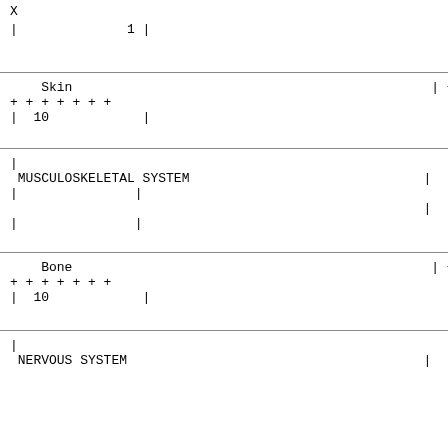X
|              1 |
Skin                                              | + + +
+ + + + + + +
|  10            |
|
 MUSCULOSKELETAL SYSTEM                              |
|               |
                                                     |
|               |
Bone                                              | + + +
+ + + + + + +
|  10            |
|
 NERVOUS SYSTEM                                      |